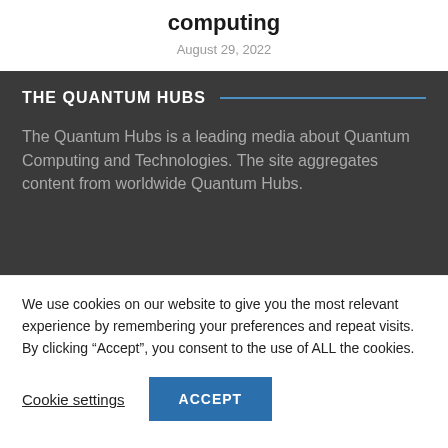computing
August 29, 2022
THE QUANTUM HUBS
The Quantum Hubs is a leading media about Quantum Computing and Technologies. The site aggregates content from worldwide Quantum Hubs.
We use cookies on our website to give you the most relevant experience by remembering your preferences and repeat visits. By clicking “Accept”, you consent to the use of ALL the cookies.
Cookie settings
ACCEPT